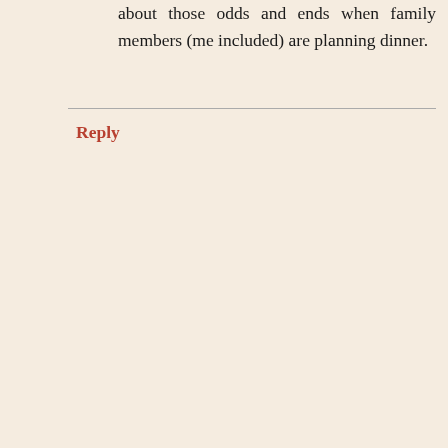about those odds and ends when family members (me included) are planning dinner.
Reply